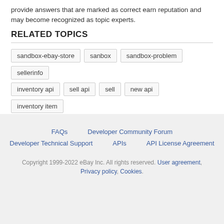provide answers that are marked as correct earn reputation and may become recognized as topic experts.
RELATED TOPICS
sandbox-ebay-store
sanbox
sandbox-problem
sellerinfo
inventory api
sell api
sell
new api
inventory item
FAQs   Developer Community Forum   Developer Technical Support   APIs   API License Agreement   Copyright 1999-2022 eBay Inc. All rights reserved. User agreement, Privacy policy, Cookies.